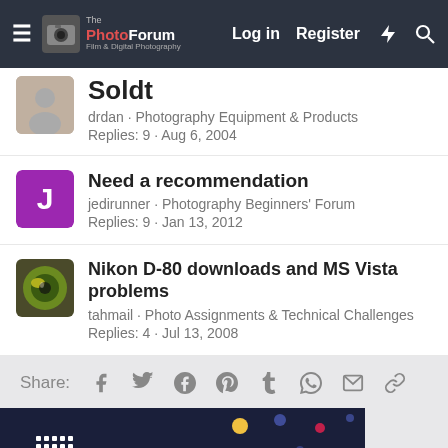The Photo Forum — Log in | Register
Soldt
drdan · Photography Equipment & Products
Replies: 9 · Aug 6, 2004
Need a recommendation
jedirunner · Photography Beginners' Forum
Replies: 9 · Jan 13, 2012
Nikon D-80 downloads and MS Vista problems
tahmail · Photo Assignments & Technical Challenges
Replies: 4 · Jul 13, 2008
Share:
[Figure (infographic): mpb.com advertisement banner with dark blue background, colorful dots pattern and mpb.com logo]